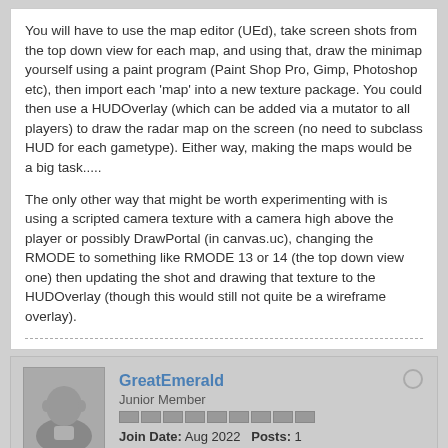You will have to use the map editor (UEd), take screen shots from the top down view for each map, and using that, draw the minimap yourself using a paint program (Paint Shop Pro, Gimp, Photoshop etc), then import each 'map' into a new texture package. You could then use a HUDOverlay (which can be added via a mutator to all players) to draw the radar map on the screen (no need to subclass HUD for each gametype). Either way, making the maps would be a big task.....
The only other way that might be worth experimenting with is using a scripted camera texture with a camera high above the player or possibly DrawPortal (in canvas.uc), changing the RMODE to something like RMODE 13 or 14 (the top down view one) then updating the shot and drawing that texture to the HUDOverlay (though this would still not quite be a wireframe overlay).
GreatEmerald — Junior Member — Join Date: Aug 2022   Posts: 1
01-19-2009, 09:41 PM   #7
Hah, I thought it was from Doom II, only they have such maps! And yes, you will need to open the Editor and draw it yourself. Take a